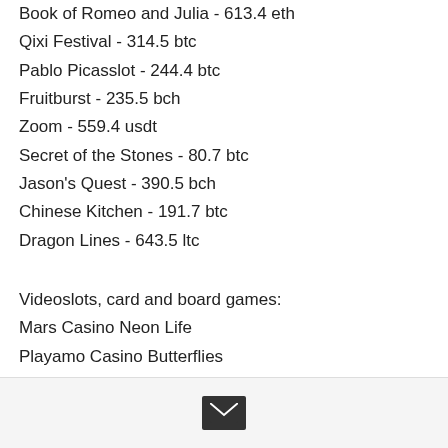Book of Romeo and Julia - 613.4 eth
Qixi Festival - 314.5 btc
Pablo Picasslot - 244.4 btc
Fruitburst - 235.5 bch
Zoom - 559.4 usdt
Secret of the Stones - 80.7 btc
Jason's Quest - 390.5 bch
Chinese Kitchen - 191.7 btc
Dragon Lines - 643.5 ltc
Videoslots, card and board games:
Mars Casino Neon Life
Playamo Casino Butterflies
Bitcasino.io Underwater World
Diamond Reels Casino Super Fast Hot Hot
https://www.succinctprojectsolutions.com/profile/noblepesch1851681/profile
https://www.morganparramorphotography.c...